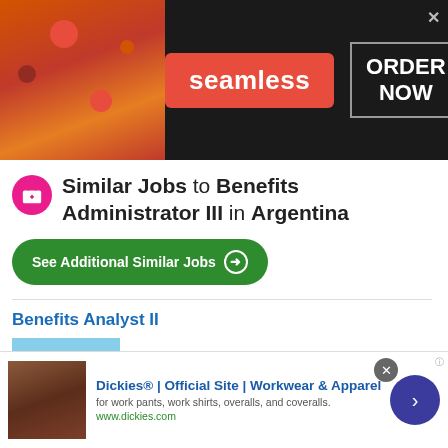[Figure (screenshot): Seamless food delivery advertisement banner with pizza image on left, red Seamless logo in center, and ORDER NOW button in gray box on right, dark background]
Similar Jobs to Benefits Administrator III in Argentina
See Additional Similar Jobs →
Benefits Analyst II
ARS$969K
Compensation and Benefits Director
This site uses cookies and other similar technologies to provide site functionality, analyze traffic and usage, and
[Figure (screenshot): Dickies workwear advertisement at bottom with product image, blue title text, description and website URL, navigation arrow button]